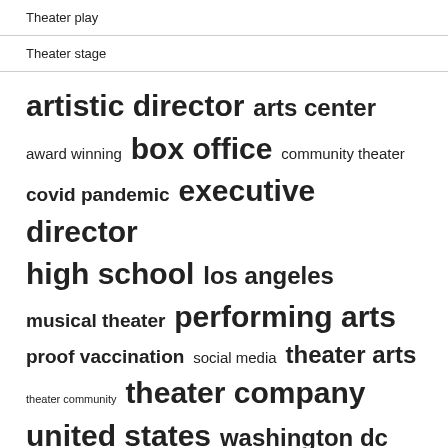Theater play
Theater stage
[Figure (infographic): Word cloud featuring theater-related terms in varying font sizes indicating frequency/importance: artistic director (largest), arts center, award winning, box office (large), community theater, covid pandemic, executive director, high school (large), los angeles, musical theater, performing arts (large), proof vaccination, social media, theater arts, theater community (small), theater company (large), united states (large), washington dc]